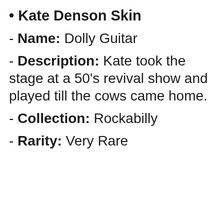• Kate Denson Skin
- Name: Dolly Guitar
- Description: Kate took the stage at a 50's revival show and played till the cows came home.
- Collection: Rockabilly
- Rarity: Very Rare
[Figure (screenshot): Video player overlay showing 'No compatible source was found for this media.' message with an X close button and a thumbnail of a fire/smoke scene in the background.]